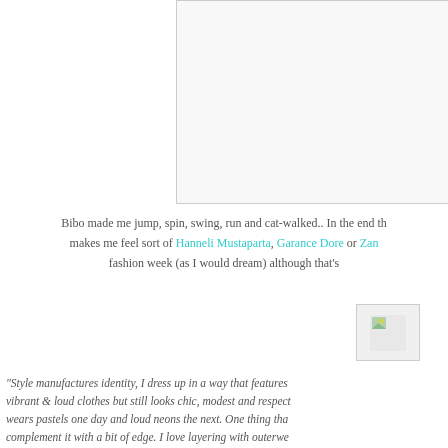[Figure (photo): Partial image box at top of page, cut off at left edge]
Bibo made me jump, spin, swing, run and cat-walked.. In the end th makes me feel sort of Hanneli Mustaparta, Garance Dore or Zan fashion week (as I would dream) although that's
[Figure (photo): Small broken image icon]
"Style manufactures identity, I dress up in a way that features vibrant & loud clothes but still looks chic, modest and respect wears pastels one day and loud neons the next. One thing tha complement it with a bit of edge. I love layering with outerwe blazers; you name it, I have it." - Ami Schaheera, Fashion B
Behind the scene sh
[Figure (photo): Image box at bottom of page, partially visible]